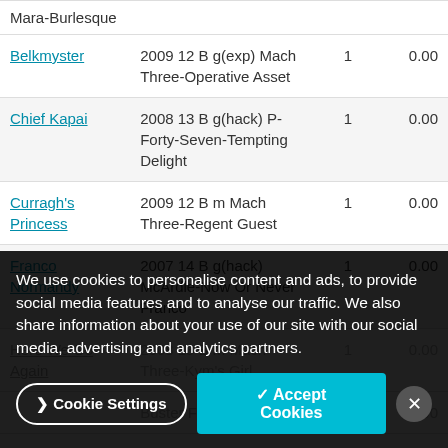| Name | Details | Starts | Wins |
| --- | --- | --- | --- |
|  | Mara-Burlesque |  |  |
| Belkmyster | 2009 12 B g(exp) Mach Three-Operative Asset | 1 | 0.00 |
| Chief Kapai | 2008 13 B g(hack) P-Forty-Seven-Tempting Delight | 1 | 0.00 |
| Curragh's Princess | 2009 12 B m Mach Three-Regent Guest | 1 | 0.00 |
| Franco Normandy | 2007 14 B g(hack) McArdle-Now Or Never Franco | 1 | 0.00 |
| Here We Go Again | 2008 13 B m Mach Three-Kym's Girl | 1 | 0.00 |
|  | 2010 11 B ... Buster Fire-Julia Rose |  | 0.00 |
| I Smart | 2010 11 B m ... |  | 0.00 |
We use cookies to personalise content and ads, to provide social media features and to analyse our traffic. We also share information about your use of our site with our social media, advertising and analytics partners.